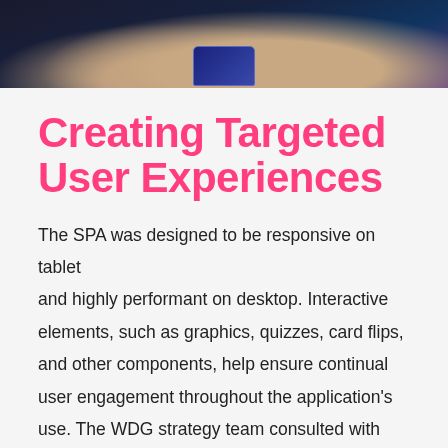[Figure (photo): Cropped photo of a hand holding a tablet/phone device against a dark background, visible at the top of the page]
Creating Targeted User Experiences
The SPA was designed to be responsive on tablet and highly performant on desktop. Interactive elements, such as graphics, quizzes, card flips, and other components, help ensure continual user engagement throughout the application's use. The WDG strategy team consulted with